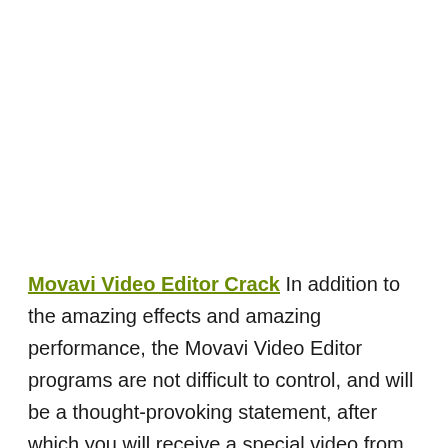Movavi Video Editor Crack In addition to the amazing effects and amazing performance, the Movavi Video Editor programs are not difficult to control, and will be a thought-provoking statement, after which you will receive a special video from Hollywood. is a program that Video Editor and Slide Maker can use to combine or split